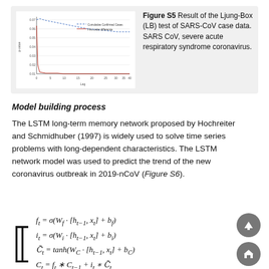[Figure (continuous-plot): Line chart showing Ljung-Box test results for SARS-CoV case data. Two lines: Cumulative Confirmed Cases (blue/dashed) and First order difference (red/solid). X-axis: Lag (0-40), Y-axis: p-value (~0.00 to 0.07). The first-order difference line drops sharply near lag 0 then stays near 0.]
Figure S5 Result of the Ljung-Box (LB) test of SARS-CoV case data. SARS CoV, severe acute respiratory syndrome coronavirus.
Model building process
The LSTM long-term memory network proposed by Hochreiter and Schmidhuber (1997) is widely used to solve time series problems with long-dependent characteristics. The LSTM network model was used to predict the trend of the new coronavirus outbreak in 2019-nCoV (Figure S6).